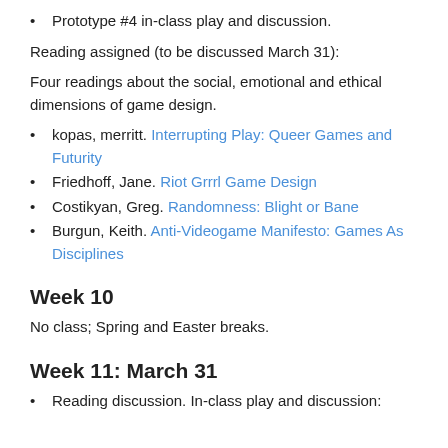Prototype #4 in-class play and discussion.
Reading assigned (to be discussed March 31):
Four readings about the social, emotional and ethical dimensions of game design.
kopas, merritt. Interrupting Play: Queer Games and Futurity
Friedhoff, Jane. Riot Grrrl Game Design
Costikyan, Greg. Randomness: Blight or Bane
Burgun, Keith. Anti-Videogame Manifesto: Games As Disciplines
Week 10
No class; Spring and Easter breaks.
Week 11: March 31
Reading discussion. In-class play and discussion: